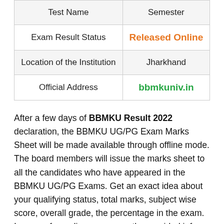| Test Name | Semester |
| --- | --- |
| Exam Result Status | Released Online |
| Location of the Institution | Jharkhand |
| Official Address | bbmkuniv.in |
After a few days of BBMKU Result 2022 declaration, the BBMKU UG/PG Exam Marks Sheet will be made available through offline mode. The board members will issue the marks sheet to all the candidates who have appeared in the BBMKU UG/PG Exams. Get an exact idea about your qualifying status, total marks, subject wise score, overall grade, the percentage in the exam. In case of any discrepancy on the provided info report it to the relevant authority for correction.